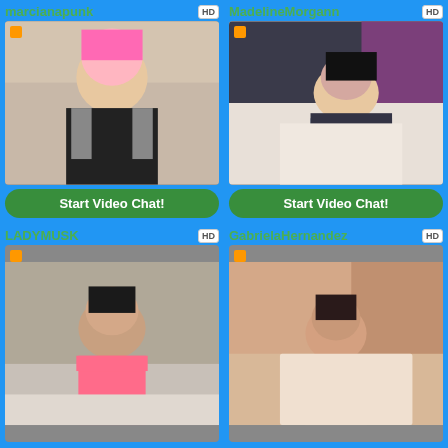marcianapunk HD
[Figure (photo): Woman with pink hair in black t-shirt with hands behind head]
Start Video Chat!
MadelineMorgann HD
[Figure (photo): Woman in blue lingerie lying on bed]
Start Video Chat!
LADYMUSK HD
[Figure (photo): Woman with curly hair in pink bikini top]
GabrielaHernandez HD
[Figure (photo): Woman in floral outfit on bed]